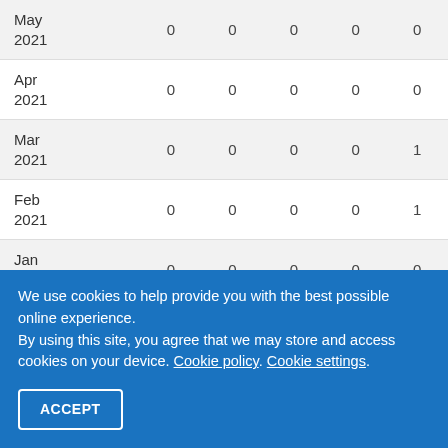|  |  |  |  |  |  |
| --- | --- | --- | --- | --- | --- |
| May 2021 | 0 | 0 | 0 | 0 | 0 |
| Apr 2021 | 0 | 0 | 0 | 0 | 0 |
| Mar 2021 | 0 | 0 | 0 | 0 | 1 |
| Feb 2021 | 0 | 0 | 0 | 0 | 1 |
| Jan 2021 | 0 | 0 | 0 | 0 | 0 |
| Dec 2020 | 0 | 0 | 0 | 0 | 0 |
| Nov 2020 | 1 | 0 | 0 | 0 | 0 |
| Oct ... |  |  |  |  |  |
We use cookies to help provide you with the best possible online experience.
By using this site, you agree that we may store and access cookies on your device. Cookie policy. Cookie settings.